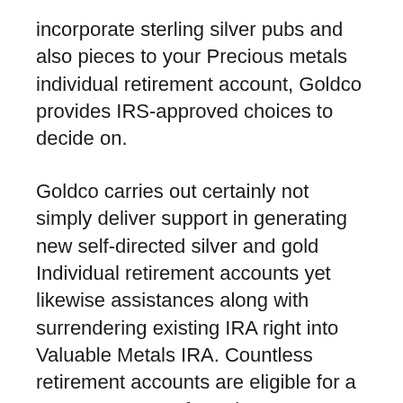incorporate sterling silver pubs and also pieces to your Precious metals individual retirement account, Goldco provides IRS-approved choices to decide on.
Goldco carries out certainly not simply deliver support in generating new self-directed silver and gold Individual retirement accounts yet likewise assistances along with surrendering existing IRA right into Valuable Metals IRA. Countless retirement accounts are eligible for a carry over. A rep from the company can support you and also deliver you along with even more details concerning the process.
Goldco's Gold and Silver Individual Retirement Accounts have the exact same